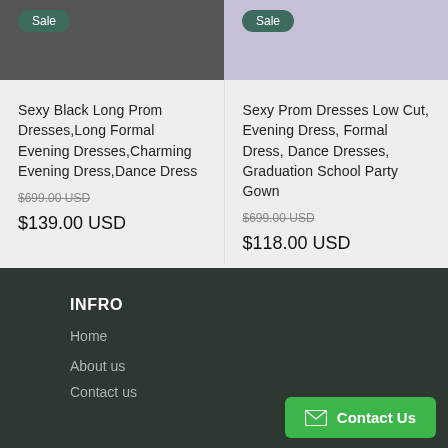[Figure (photo): Product photo of black prom dress with Sale badge]
[Figure (photo): Product photo of lavender/purple prom dress with Sale badge]
Sexy Black Long Prom Dresses,Long Formal Evening Dresses,Charming Evening Dress,Dance Dress
$699.00 USD  $139.00 USD
Sexy Prom Dresses Low Cut, Evening Dress, Formal Dress, Dance Dresses, Graduation School Party Gown
$699.00 USD  $118.00 USD
INFRO
Home
About us
Contact Us